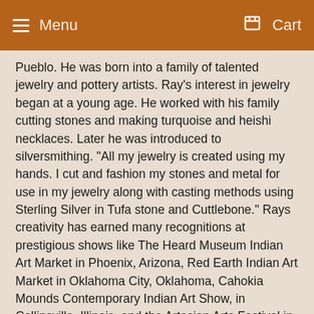Menu   Cart
Pueblo.  He was born into a family of talented jewelry and pottery artists.  Ray's interest in jewelry began at a young age.  He worked with his family cutting stones and making turquoise and heishi necklaces.  Later he was introduced to silversmithing. "All my jewelry is created using my hands. I cut and fashion my stones and metal for use in my jewelry along with casting methods using Sterling Silver in Tufa stone and Cuttlebone."  Rays creativity has earned many recognitions at prestigious shows like The Heard Museum Indian Art Market in Phoenix, Arizona, Red Earth Indian Art Market in Oklahoma City, Oklahoma, Cahokia Mounds Contemporary Indian Art Show, in Collinsville, Illinois, and the Artesian Arts Festival in Sulphur, Oklahoma
Turquoise has always been used as a symbol of beauty, positive energy, strength, and carry many historical attributes.  Some believe turquoise is a piece of sky, a symbol of water, a gift from the spirits that are used to adorn and pay reverence.
The Spanish introduced silver and copper metals.  These became